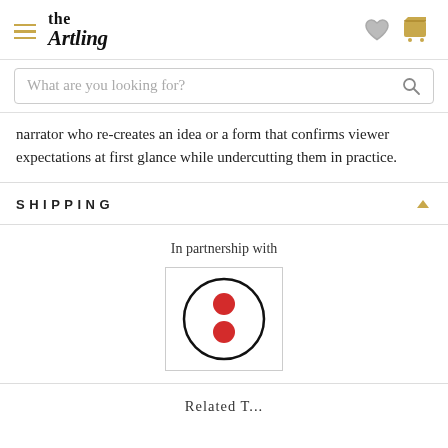the Artling
narrator who re-creates an idea or a form that confirms viewer expectations at first glance while undercutting them in practice.
SHIPPING
In partnership with
[Figure (logo): Circular logo with two red dots arranged vertically inside a black circle outline, on white background — appears to be a shipping partner logo (Floship or similar).]
Related T...